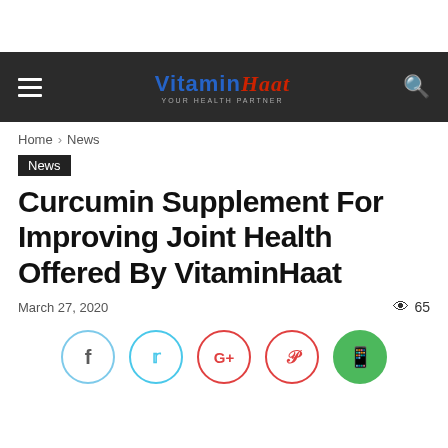VitaminHaat
Home › News
News
Curcumin Supplement For Improving Joint Health Offered By VitaminHaat
March 27, 2020
65 views
[Figure (other): Social sharing buttons: Facebook, Twitter, Google+, Pinterest, WhatsApp]